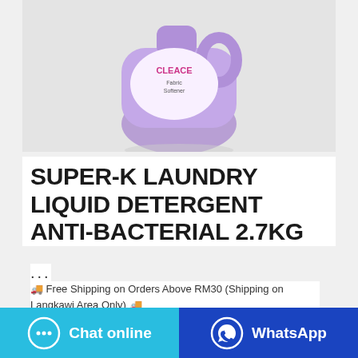[Figure (photo): Purple CLEACE Fabric Softener / laundry liquid detergent bottle on white/grey background]
SUPER-K LAUNDRY LIQUID DETERGENT ANTI-BACTERIAL 2.7KG
...
🚚 Free Shipping on Orders Above RM30 (Shipping on Langkawi Area Only) 🚚